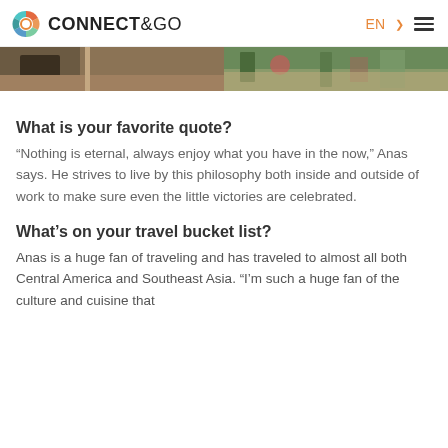CONNECT&GO — EN
[Figure (photo): Partial banner photo showing outdoor/indoor scenes, appears to be two images side by side]
What is your favorite quote?
“Nothing is eternal, always enjoy what you have in the now,” Anas says. He strives to live by this philosophy both inside and outside of work to make sure even the little victories are celebrated.
What’s on your travel bucket list?
Anas is a huge fan of traveling and has traveled to almost all both Central America and Southeast Asia. “I’m such a huge fan of the culture and cuisine that